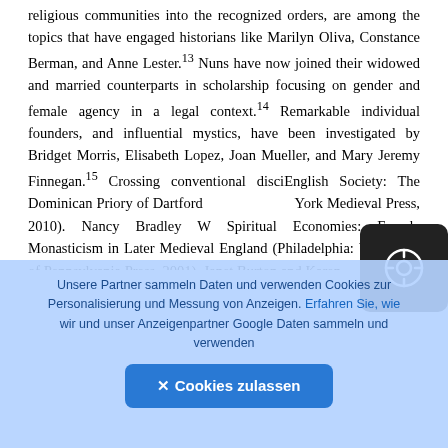religious communities into the recognized orders, are among the topics that have engaged historians like Marilyn Oliva, Constance Berman, and Anne Lester.13 Nuns have now joined their widowed and married counterparts in scholarship focusing on gender and female agency in a legal context.14 Remarkable individual founders, and influential mystics, have been investigated by Bridget Morris, Elisabeth Lopez, Joan Mueller, and Mary Jeremy Finnegan.15 Crossing conventional disciEnglish Society: The Dominican Priory of Dartford and York Medieval Press, 2010). Nancy Bradley W... Spiritual Economies: Female Monasticism in Later Medieval England (Philadelphia: University of Pennsylvania Press, 2001). Janet Burton and Karen
[Figure (other): Dark rounded square button with a compass/navigation circle icon (white on black background)]
Unsere Partner sammeln Daten und verwenden Cookies zur Personalisierung und Messung von Anzeigen. Erfahren Sie, wie wir und unser Anzeigenpartner Google Daten sammeln und verwenden